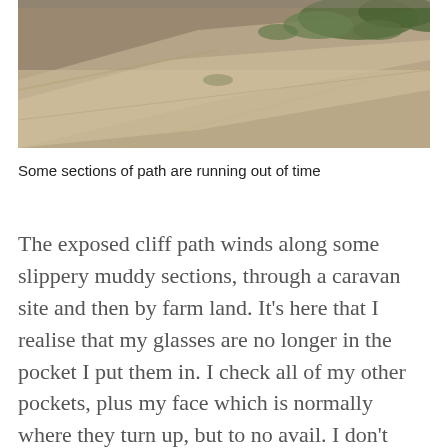[Figure (photo): A photograph showing a cliff path with sandy/rocky ground and patches of green grass or vegetation, viewed from above.]
Some sections of path are running out of time
The exposed cliff path winds along some slippery muddy sections, through a caravan site and then by farm land. It’s here that I realise that my glasses are no longer in the pocket I put them in. I check all of my other pockets, plus my face which is normally where they turn up, but to no avail. I don’t need them all of the time but the realisation that there’s an England